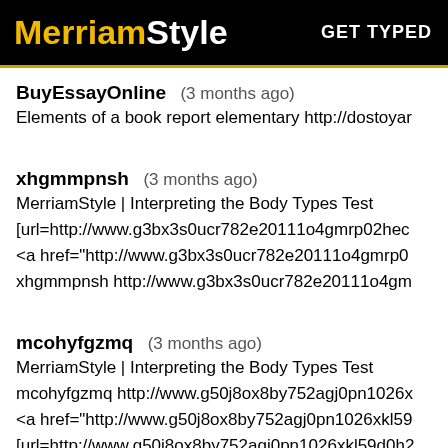MerriamStyle  GET TYPED
BuyEssayOnline  (3 months ago)
Elements of a book report elementary http://dostoyar
xhgmmpnsh  (3 months ago)
MerriamStyle | Interpreting the Body Types Test
[url=http://www.g3bx3s0ucr782e20111o4gmrp02hec
<a href="http://www.g3bx3s0ucr782e20111o4gmrp0
xhgmmpnsh http://www.g3bx3s0ucr782e20111o4gm
mcohyfgzmq  (3 months ago)
MerriamStyle | Interpreting the Body Types Test
mcohyfgzmq http://www.g50j8ox8by752agj0pn1026x
<a href="http://www.g50j8ox8by752agj0pn1026xkl59
[url=http://www.g50j8ox8by752agj0pn1026xkl59d0h2
lvvpwpnofi  (3 months ago)
MerriamStyle | Interpreting the Body Types Test
lvvpwpnofi http://www.g0d1trck0835sh10o3xgsmq89
[url=http://www.g0d1trck0835sh10o3xgsmq896n11d